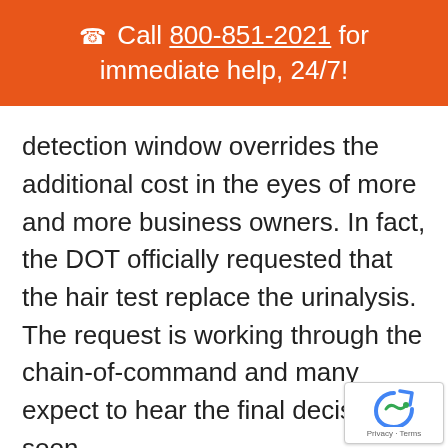📞 Call 800-851-2021 for immediate help, 24/7!
detection window overrides the additional cost in the eyes of more and more business owners. In fact, the DOT officially requested that the hair test replace the urinalysis. The request is working through the chain-of-command and many expect to hear the final decision soon.